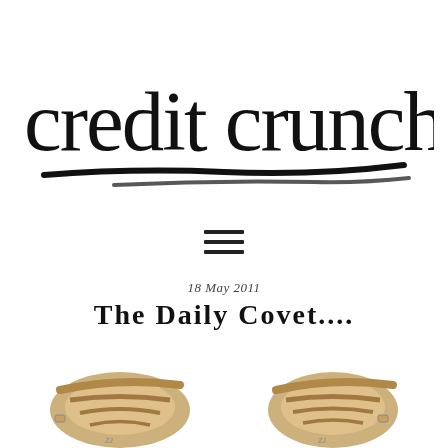[Figure (logo): Credit Crunch Chic handwritten logo with brush underline]
[Figure (other): Hamburger menu icon (three horizontal lines)]
18 May 2011
The Daily Covet....
[Figure (photo): Two gold/tan strappy sandal shoes viewed from above, partially cropped at bottom of page]